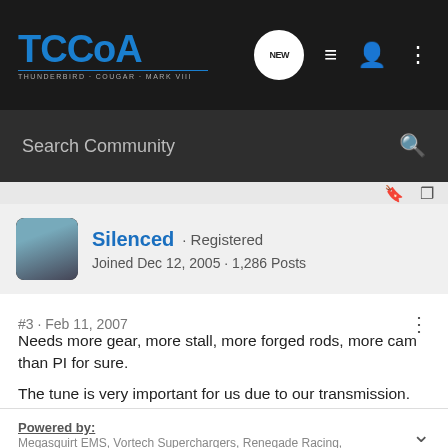TCCoA - THUNDERBIRD · COUGAR · MARK VIII
Search Community
Silenced · Registered
Joined Dec 12, 2005 · 1,286 Posts
#3 · Feb 11, 2007
Needs more gear, more stall, more forged rods, more cam than PI for sure.

The tune is very important for us due to our transmission.
Powered by:
Megasquirt EMS, Vortech Superchargers, Renegade Racing,